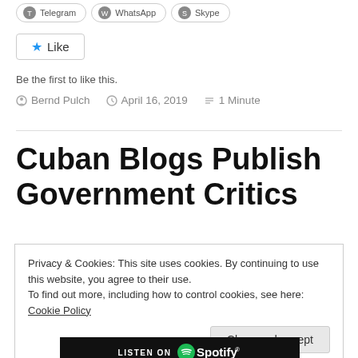[Figure (screenshot): Share buttons row showing Telegram, WhatsApp, Skype icons with rounded border buttons (partially cropped at top)]
[Figure (screenshot): Like button with blue star icon inside a bordered rounded rectangle]
Be the first to like this.
Bernd Pulch   April 16, 2019   1 Minute
Cuban Blogs Publish Government Critics
Privacy & Cookies: This site uses cookies. By continuing to use this website, you agree to their use.
To find out more, including how to control cookies, see here: Cookie Policy
[Figure (logo): Spotify Listen on Spotify black banner at bottom]